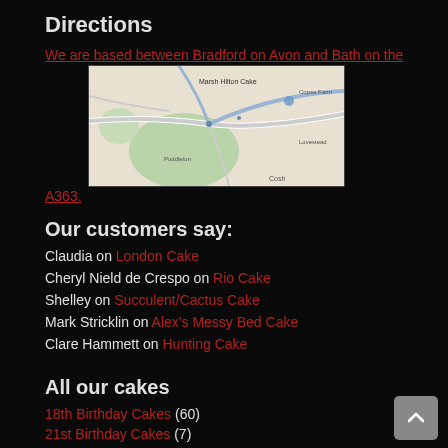Directions
We are based between Bradford on Avon and Bath on the A363.
[Figure (map): A road map showing the area between Bradford on Avon and Bath on the A363, with green areas indicating parks/woodland, roads, and location markers.]
Our customers say:
Claudia on London Cake
Cheryl Nield de Crespo on Rio Cake
Shelley on Succulent/Cactus Cake
Mark Stricklin on Alex's Messy Bed Cake
Clare Hammett on Hunting Cake
All our cakes
18th Birthday Cakes (60)
21st Birthday Cakes (7)